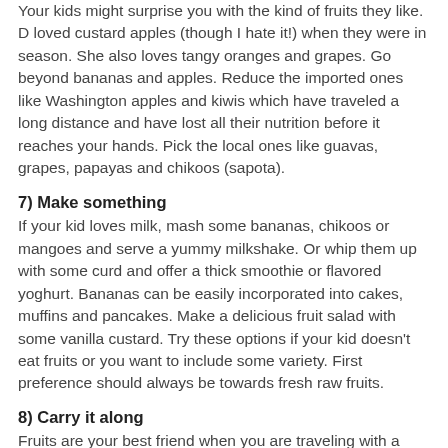Your kids might surprise you with the kind of fruits they like. D loved custard apples (though I hate it!) when they were in season. She also loves tangy oranges and grapes. Go beyond bananas and apples. Reduce the imported ones like Washington apples and kiwis which have traveled a long distance and have lost all their nutrition before it reaches your hands. Pick the local ones like guavas, grapes, papayas and chikoos (sapota).
7) Make something
If your kid loves milk, mash some bananas, chikoos or mangoes and serve a yummy milkshake. Or whip them up with some curd and offer a thick smoothie or flavored yoghurt. Bananas can be easily incorporated into cakes, muffins and pancakes. Make a delicious fruit salad with some vanilla custard. Try these options if your kid doesn't eat fruits or you want to include some variety. First preference should always be towards fresh raw fruits.
8) Carry it along
Fruits are your best friend when you are traveling with a toddler. You can easily carry some bananas, pomegranate seeds, mangoes and so on. So go the longer way.